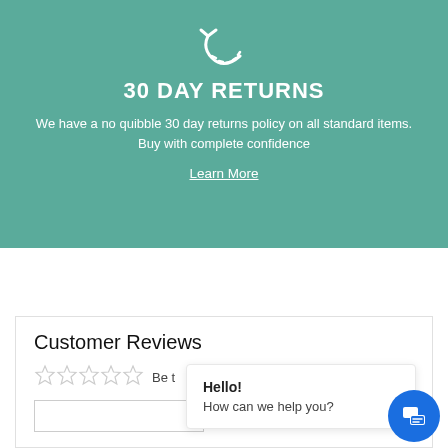[Figure (illustration): White return/undo arrow icon (circular arrow with dotted tail) on teal background]
30 DAY RETURNS
We have a no quibble 30 day returns policy on all standard items. Buy with complete confidence
Learn More
Customer Reviews
[Figure (illustration): Five empty star rating icons]
Be t
Hello!
How can we help you?